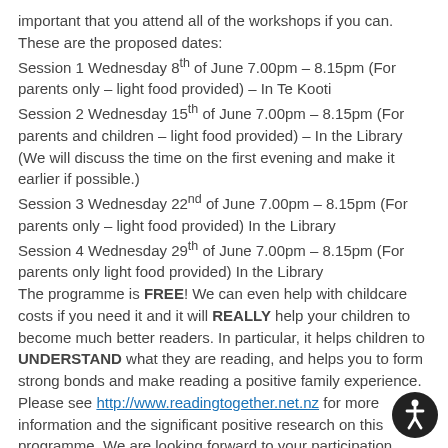important that you attend all of the workshops if you can. These are the proposed dates:
Session 1 Wednesday 8th of June 7.00pm – 8.15pm (For parents only – light food provided) – In Te Kooti
Session 2 Wednesday 15th of June 7.00pm – 8.15pm (For parents and children – light food provided) – In the Library (We will discuss the time on the first evening and make it earlier if possible.)
Session 3 Wednesday 22nd of June 7.00pm – 8.15pm (For parents only – light food provided) In the Library
Session 4 Wednesday 29th of June 7.00pm – 8.15pm (For parents only light food provided) In the Library
The programme is FREE! We can even help with childcare costs if you need it and it will REALLY help your children to become much better readers. In particular, it helps children to UNDERSTAND what they are reading, and helps you to form strong bonds and make reading a positive family experience. Please see http://www.readingtogether.net.nz for more information and the significant positive research on this programme. We are looking forward to your participation. Please register by emailing kirsten@amuri.school.nz or
[Figure (other): Accessibility icon — circular black badge with white wheelchair/person symbol]